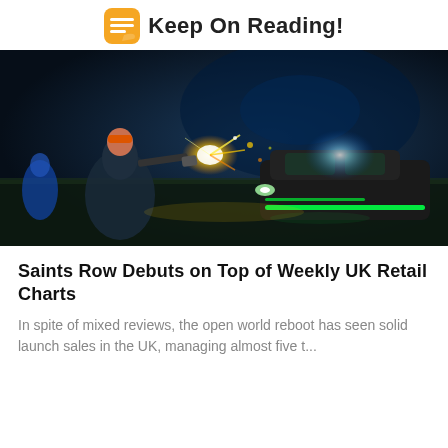Keep On Reading!
[Figure (photo): Saints Row video game screenshot showing a character firing a weapon at a car at night with dramatic lighting and explosions]
Saints Row Debuts on Top of Weekly UK Retail Charts
In spite of mixed reviews, the open world reboot has seen solid launch sales in the UK, managing almost five t...